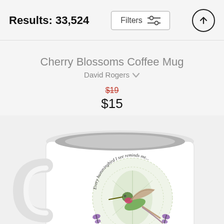Results: 33,524
Filters
Cherry Blossoms Coffee Mug
David Rogers
$19 (strikethrough) $15
[Figure (photo): A white coffee mug with a hummingbird illustration and circular text reading 'Every hummingbird I see reminds me...' with decorative butterfly elements, shown at an angle revealing the inner gray color.]